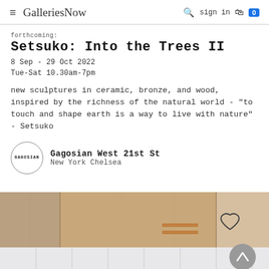GalleriesNow  sign in  0
forthcoming:
Setsuko: Into the Trees II
8 Sep - 29 Oct 2022
Tue-Sat 10.30am-7pm
new sculptures in ceramic, bronze, and wood, inspired by the richness of the natural world - "to touch and shape earth is a way to live with nature" - Setsuko
Gagosian West 21st St
New York Chelsea
[Figure (photo): Artwork image showing a wood and ceramic panel with horizontal lines and a heart outline drawn on it, part of the Setsuko exhibition]